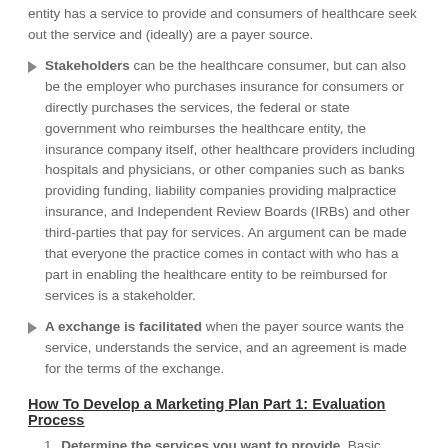entity has a service to provide and consumers of healthcare seek out the service and (ideally) are a payer source.
Stakeholders can be the healthcare consumer, but can also be the employer who purchases insurance for consumers or directly purchases the services, the federal or state government who reimburses the healthcare entity, the insurance company itself, other healthcare providers including hospitals and physicians, or other companies such as banks providing funding, liability companies providing malpractice insurance, and Independent Review Boards (IRBs) and other third-parties that pay for services. An argument can be made that everyone the practice comes in contact with who has a part in enabling the healthcare entity to be reimbursed for services is a stakeholder.
A exchange is facilitated when the payer source wants the service, understands the service, and an agreement is made for the terms of the exchange.
How To Develop a Marketing Plan Part 1: Evaluation Process
Determine the services you want to provide. Basic services may be straightforward to market to a community as many locations have need for more healthcare services, but new or